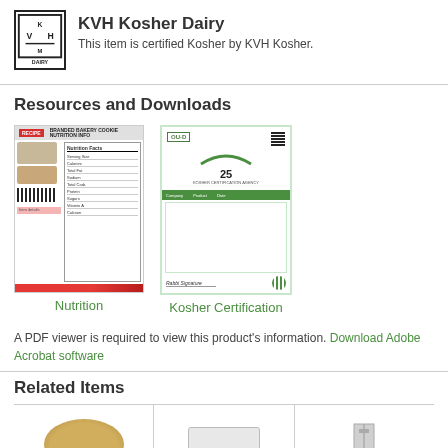[Figure (logo): KVH Kosher Dairy logo — square border with K, V, H letters and DAIRY text below]
KVH Kosher Dairy
This item is certified Kosher by KVH Kosher.
Resources and Downloads
[Figure (screenshot): Thumbnail image of a Nutrition facts document with red badge, product images, barcode, and orange-red gradient bar at bottom]
Nutrition
[Figure (screenshot): Thumbnail image of a Kosher Certification document with green arc logo, green header bar, and signature at bottom]
Kosher Certification
A PDF viewer is required to view this product's information. Download Adobe Acrobat software
Related Items
[Figure (photo): Cookie or baked good image]
[Figure (photo): White box product image]
[Figure (photo): Stand or rack product image]